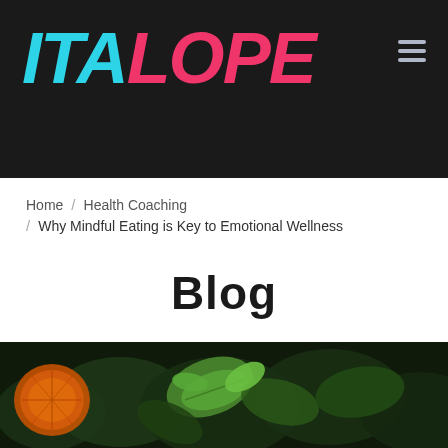ITALOPE
Home / Health Coaching / Why Mindful Eating is Key to Emotional Wellness
Blog
[Figure (photo): Dark food photography showing green leaves and citrus (orange/lemon slice) on a dark background, partially visible at the bottom of the page.]